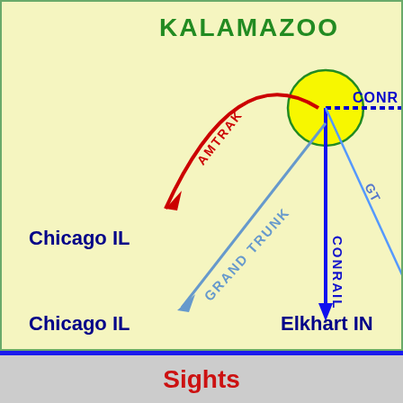[Figure (map): Railroad map showing Kalamazoo as a hub with rail lines: Amtrak (red curved arrow) to Chicago IL, Conrail (blue vertical line) to Elkhart IN, Grand Trunk (light blue diagonal) to Chicago IL, GT diagonal line going to lower right, and a partial Conrail label going off the right edge. Yellow circle marks Kalamazoo station junction.]
Sights